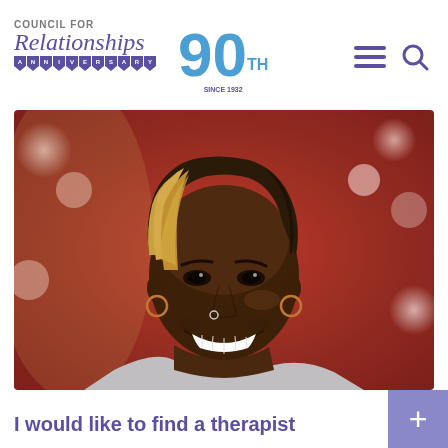[Figure (logo): Council for Relationships 90th Anniversary logo with blue '90' numeral and pennant banner reading 'SINCE 1932']
[Figure (photo): Portrait photo of a smiling young Black woman with blonde-highlighted bob haircut, wearing hoop earrings and a nose ring, with blurred red foliage background]
I would like to find a therapist